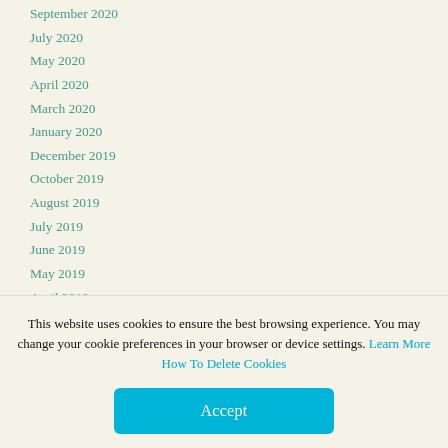September 2020
July 2020
May 2020
April 2020
March 2020
January 2020
December 2019
October 2019
August 2019
July 2019
June 2019
May 2019
April 2019
March 2019
December 2018
This website uses cookies to ensure the best browsing experience. You may change your cookie preferences in your browser or device settings. Learn More How To Delete Cookies
Accept